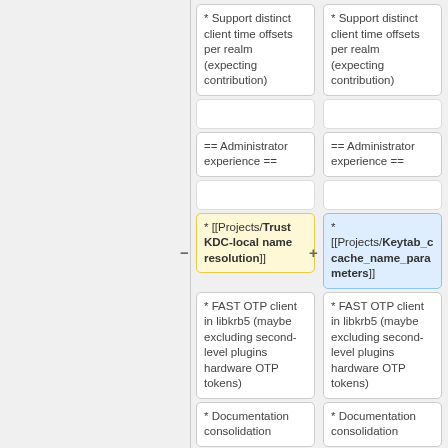* Support distinct client time offsets per realm (expecting contribution)
* Support distinct client time offsets per realm (expecting contribution)
== Administrator experience ==
== Administrator experience ==
* [[Projects/Trust KDC-local name resolution]]
* [[Projects/Keytab_cache_name_parameters]]
* FAST OTP client in libkrb5 (maybe excluding second-level plugins hardware OTP tokens)
* FAST OTP client in libkrb5 (maybe excluding second-level plugins hardware OTP tokens)
* Documentation consolidation
* Documentation consolidation